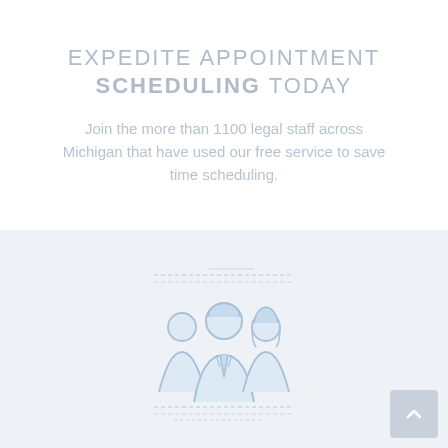EXPEDITE APPOINTMENT SCHEDULING TODAY
Join the more than 1100 legal staff across Michigan that have used our free service to save time scheduling.
[Figure (illustration): Light blue illustration of three people (a group/team icon) in outline style, representing legal staff]